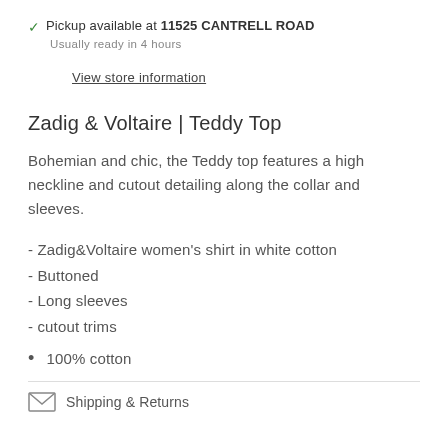✓ Pickup available at 11525 CANTRELL ROAD
Usually ready in 4 hours
View store information
Zadig & Voltaire | Teddy Top
Bohemian and chic, the Teddy top features a high neckline and cutout detailing along the collar and sleeves.
- Zadig&Voltaire women's shirt in white cotton
- Buttoned
- Long sleeves
- cutout trims
• 100% cotton
Shipping & Returns